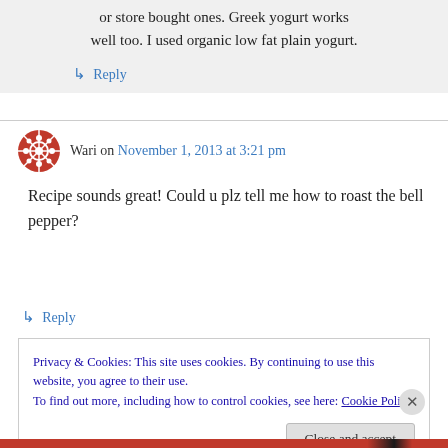or store bought ones. Greek yogurt works well too. I used organic low fat plain yogurt.
↳ Reply
Wari on November 1, 2013 at 3:21 pm
Recipe sounds great! Could u plz tell me how to roast the bell pepper?
↳ Reply
Privacy & Cookies: This site uses cookies. By continuing to use this website, you agree to their use.
To find out more, including how to control cookies, see here: Cookie Policy
Close and accept